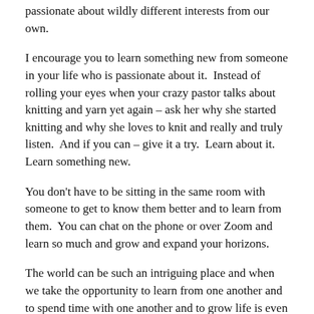passionate about wildly different interests from our own.
I encourage you to learn something new from someone in your life who is passionate about it.  Instead of rolling your eyes when your crazy pastor talks about knitting and yarn yet again – ask her why she started knitting and why she loves to knit and really and truly listen.  And if you can – give it a try.  Learn about it.  Learn something new.
You don't have to be sitting in the same room with someone to get to know them better and to learn from them.  You can chat on the phone or over Zoom and learn so much and grow and expand your horizons.
The world can be such an intriguing place and when we take the opportunity to learn from one another and to spend time with one another and to grow life is even richer and more blessed.